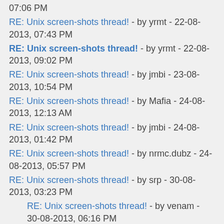07:06 PM
RE: Unix screen-shots thread! - by yrmt - 22-08-2013, 07:43 PM
RE: Unix screen-shots thread! - by yrmt - 22-08-2013, 09:02 PM
RE: Unix screen-shots thread! - by jmbi - 23-08-2013, 10:54 PM
RE: Unix screen-shots thread! - by Mafia - 24-08-2013, 12:13 AM
RE: Unix screen-shots thread! - by jmbi - 24-08-2013, 01:42 PM
RE: Unix screen-shots thread! - by nrmc.dubz - 24-08-2013, 05:57 PM
RE: Unix screen-shots thread! - by srp - 30-08-2013, 03:23 PM
RE: Unix screen-shots thread! - by venam - 30-08-2013, 06:16 PM
RE: Unix screen-shots thread! - by jobss - 30-08-2013, 08:48 PM
RE: Unix screen-shots thread! - by srp - 02-09-2013, 04:08 PM
RE: Unix screen-shots thread! - by DotDev - 02-09-2013, 07:57 PM
RE: Unix screen-shots thread! - by jobss - 02-09-2013, 08:04 PM